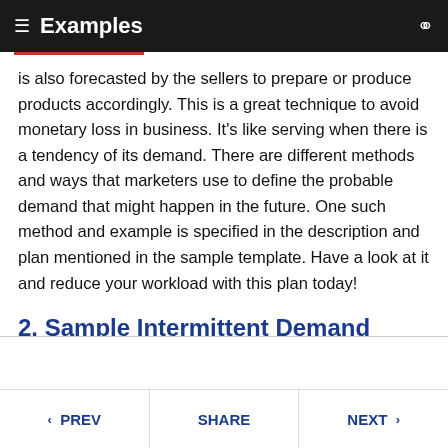Examples
is also forecasted by the sellers to prepare or produce products accordingly. This is a great technique to avoid monetary loss in business. It's like serving when there is a tendency of its demand. There are different methods and ways that marketers use to define the probable demand that might happen in the future. One such method and example is specified in the description and plan mentioned in the sample template. Have a look at it and reduce your workload with this plan today!
2. Sample Intermittent Demand Forecasting Example
< PREV   SHARE   NEXT >